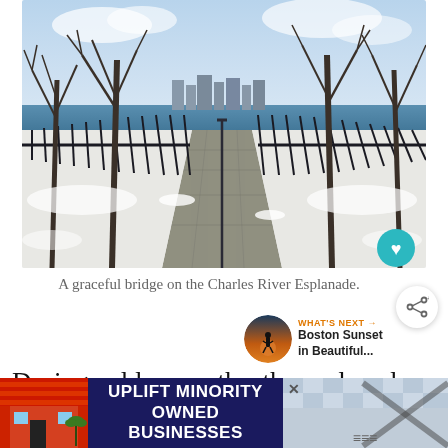[Figure (photo): A snowy winter scene of a brick-paved footbridge with black iron railings on the Charles River Esplanade in Boston. Bare trees line both sides, a blue river and city buildings are visible in the background under a partly cloudy sky. Snow covers the ground and railing bases.]
A graceful bridge on the Charles River Esplanade.
[Figure (illustration): Boston Sunset in Beautiful... thumbnail image showing a silhouette figure at sunset, with WHAT'S NEXT arrow label]
During colder months, the esplanade can
[Figure (screenshot): Advertisement banner: UPLIFT MINORITY OWNED BUSINESSES with colorful storefront graphics on left and right sides]